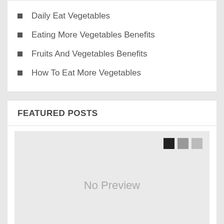Daily Eat Vegetables
Eating More Vegetables Benefits
Fruits And Vegetables Benefits
How To Eat More Vegetables
FEATURED POSTS
[Figure (other): No Preview placeholder image with three square navigation dots in top right corner]